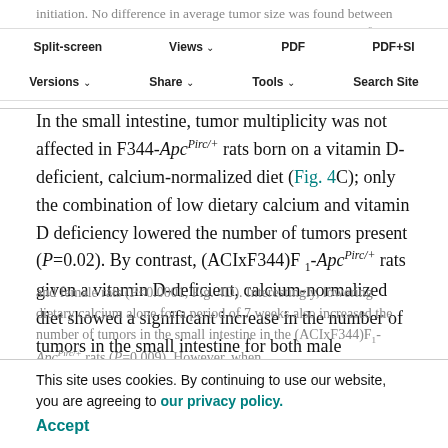initiation. No difference in average tumor size was found between animals sufficient in vitamin D at various levels (8.2±7.9 mm², n=38) and those deficient in vitamin D (7.1±6.5 mm², n=39, P=0.66).
Split-screen | Views | PDF | PDF+SI | Versions | Share | Tools | Search Site
In the small intestine, tumor multiplicity was not affected in F344-ApcPirc/+ rats born on a vitamin D-deficient, calcium-normalized diet (Fig. 4C); only the combination of low dietary calcium and vitamin D deficiency lowered the number of tumors present (P=0.02). By contrast, (ACIxF344)F₁-ApcPirc/+ rats given a vitamin D-deficient, calcium-normalized diet showed a significant increase in the number of tumors in the small intestine for both male
and female rats (P<0.0001, Fig. 4D). Interestingly, lowering dietary calcium alone for a period of 7 weeks also increased the number of tumors in the small intestine in the (ACIxF344)F₁-ApcPirc/+ rats (P=0.009). However, when
This site uses cookies. By continuing to use our website, you are agreeing to our privacy policy. Accept